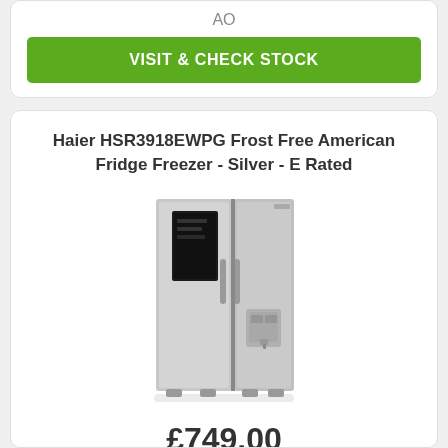AO
VISIT & CHECK STOCK
Haier HSR3918EWPG Frost Free American Fridge Freezer - Silver - E Rated
[Figure (photo): Silver American-style side-by-side fridge freezer with water dispenser on the right door]
£749.00